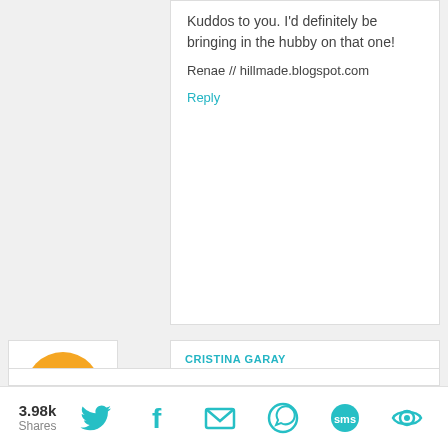Kuddos to you. I'd definitely be bringing in the hubby on that one!
Renae // hillmade.blogspot.com
Reply
CRISTINA GARAY FEBRUARY 17, 2014 AT 12:26 PM
Holy cow! It looks AMAZING! Seriously, I love it all, the bench, the towers, the hampers, what a job you did! Can't wait for all those little details ;)
Reply
3.98k Shares